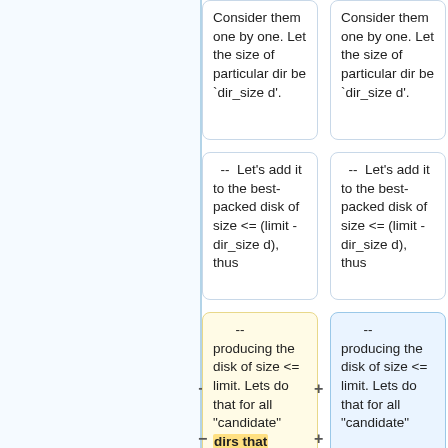Consider them one by one. Let the size of particular dir be `dir_size d'.
Consider them one by one. Let the size of particular dir be `dir_size d'.
-- Let's add it to the best-packed disk of size <= (limit - dir_size d), thus
-- Let's add it to the best-packed disk of size <= (limit - dir_size d), thus
-- producing the disk of size <= limit. Lets do that for all "candidate" dirs that
-- producing the disk of size <= limit. Lets do that for all "candidate"
-- are not yet on our disk:
-- dirs that are not yet on our disk: